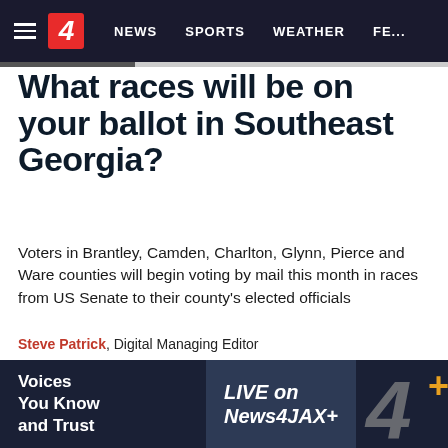NEWS | SPORTS | WEATHER | FE...
What races will be on your ballot in Southeast Georgia?
Voters in Brantley, Camden, Charlton, Glynn, Pierce and Ware counties will begin voting by mail this month in races from US Senate to their county's elected officials
Steve Patrick, Digital Managing Editor
Published: September 16, 2020 at 9:58 AM
Updated: October 10, 2020 at 12:10 PM
Tags: Primary, Brantley County, Camden County, Charlton
[Figure (screenshot): Voices You Know and Trust — LIVE on News4JAX+ advertisement banner with channel 4 logo]